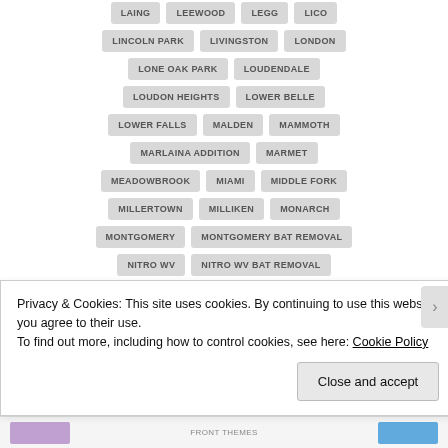LAING
LEEWOOD
LEGG
LICO
LINCOLN PARK
LIVINGSTON
LONDON
LONE OAK PARK
LOUDENDALE
LOUDON HEIGHTS
LOWER BELLE
LOWER FALLS
MALDEN
MAMMOTH
MARLAINA ADDITION
MARMET
MEADOWBROOK
MIAMI
MIDDLE FORK
MILLERTOWN
MILLIKEN
MONARCH
MONTGOMERY
MONTGOMERY BAT REMOVAL
NITRO WV
NITRO WV BAT REMOVAL
NORTH CHARLESTON WV
Privacy & Cookies: This site uses cookies. By continuing to use this website, you agree to their use.
To find out more, including how to control cookies, see here: Cookie Policy
Close and accept